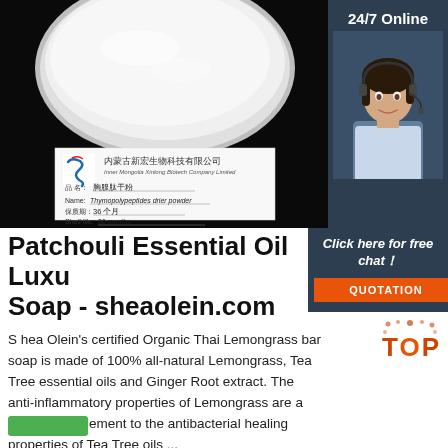[Figure (photo): Product photo showing a white powder in a dish on a dark background, with a product label card from Inner Mongolia Xinlong Biotech Company Limited showing Thymopolypeptides drier powder, shelf life 36 months]
24/7 Online
[Figure (photo): Customer service agent woman with headset smiling]
Patchouli Essential Oil Luxury Soap - sheaolein.com
Click here for free chat!
QUOTATION
S hea Olein's certified Organic Thai Lemongrass bar soap is made of 100% all-natural Lemongrass, Tea Tree essential oils and Ginger Root extract. The anti-inflammatory properties of Lemongrass are a perfect complement to the antibacterial healing properties of Tea Tree oils ...